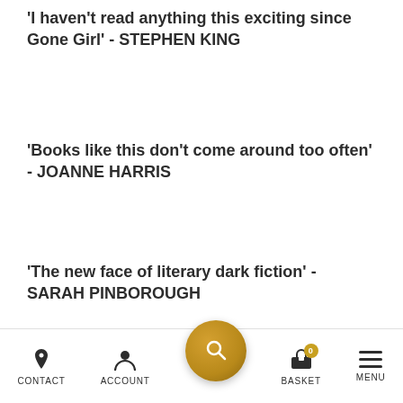'I haven't read anything this exciting since Gone Girl' - STEPHEN KING
'Books like this don't come around too often' - JOANNE HARRIS
'The new face of literary dark fiction' - SARAH PINBOROUGH
This is the story of a murderer. A stolen child. Revenge. This is the story of Ted, who lives with his daughter Lauren and his cat Olivia in an ordinary house at the end of an ordinary street.
CONTACT  ACCOUNT  BASKET  MENU